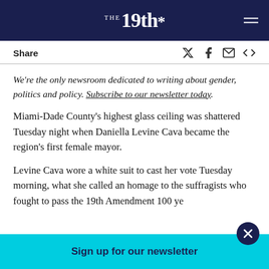THE 19th*
Share
We're the only newsroom dedicated to writing about gender, politics and policy. Subscribe to our newsletter today.
Miami-Dade County's highest glass ceiling was shattered Tuesday night when Daniella Levine Cava became the region's first female mayor.
Levine Cava wore a white suit to cast her vote Tuesday morning, what she called an homage to the suffragists who fought to pass the 19th Amendment 100 ye... did not ha...
Sign up for our newsletter